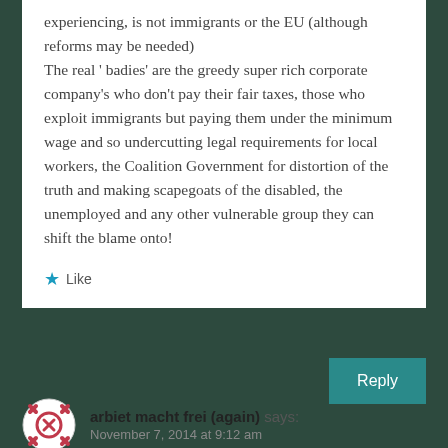experiencing, is not immigrants or the EU (although reforms may be needed) The real ' badies' are the greedy super rich corporate company's who don't pay their fair taxes, those who exploit immigrants but paying them under the minimum wage and so undercutting legal requirements for local workers, the Coalition Government for distortion of the truth and making scapegoats of the disabled, the unemployed and any other vulnerable group they can shift the blame onto!
Like
Reply
arbiet macht frei (again) says:
November 7, 2014 at 9:12 am